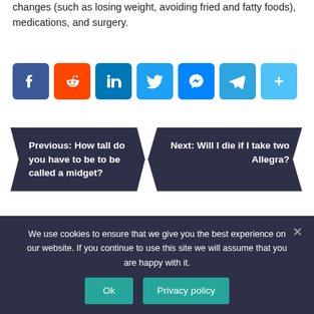changes (such as losing weight, avoiding fried and fatty foods), medications, and surgery.
[Figure (other): Social sharing icons: Facebook, Reddit, LinkedIn, Twitter, Messenger, Telegram, Share]
Previous: How tall do you have to be to be called a midget?
Next: Will I die if I take two Allegra?
Pages
We use cookies to ensure that we give you the best experience on our website. If you continue to use this site we will assume that you are happy with it.